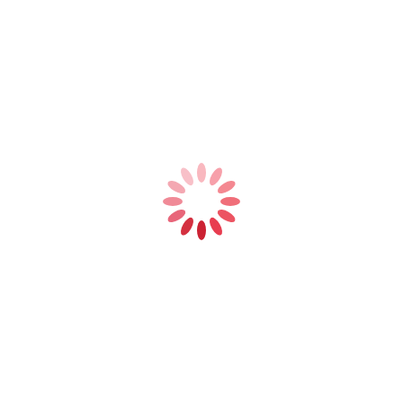[Figure (other): A loading spinner graphic consisting of oval/pill-shaped segments arranged in a circle, transitioning in color from light pink to dark red, indicating a loading state.]